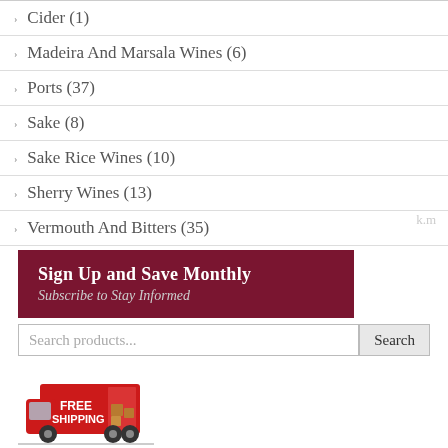Cider (1)
Madeira And Marsala Wines (6)
Ports (37)
Sake (8)
Sake Rice Wines (10)
Sherry Wines (13)
Vermouth And Bitters (35)
[Figure (infographic): Dark red promotional banner with text 'Sign Up and Save Monthly' and 'Subscribe to Stay Informed']
[Figure (screenshot): Search bar with placeholder 'Search products...' and a Search button]
[Figure (illustration): Red delivery truck with FREE SHIPPING text and caption IN NY STATE FOR ORDERS OVER $175]
We (currently) ship to:
AK CA CT DC FL LA NH NV NY VA WV